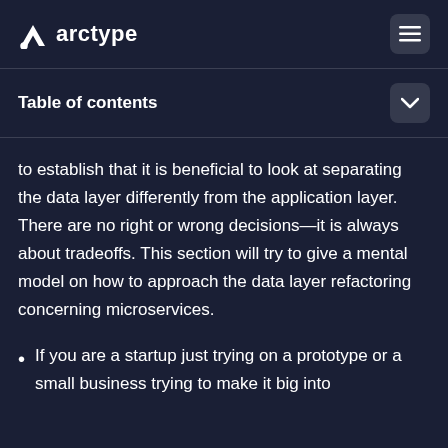arctype
Table of contents
to establish that it is beneficial to look at separating the data layer differently from the application layer. There are no right or wrong decisions—it is always about tradeoffs. This section will try to give a mental model on how to approach the data layer refactoring concerning microservices.
If you are a startup just trying on a prototype or a small business trying to make it big into